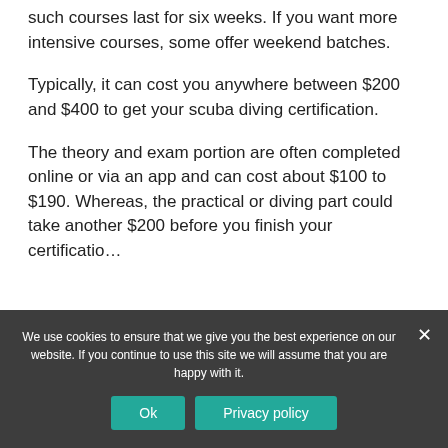such courses last for six weeks. If you want more intensive courses, some offer weekend batches.
Typically, it can cost you anywhere between $200 and $400 to get your scuba diving certification.
The theory and exam portion are often completed online or via an app and can cost about $100 to $190. Whereas, the practical or diving part could take another $200 before you finish your certification.
We use cookies to ensure that we give you the best experience on our website. If you continue to use this site we will assume that you are happy with it.